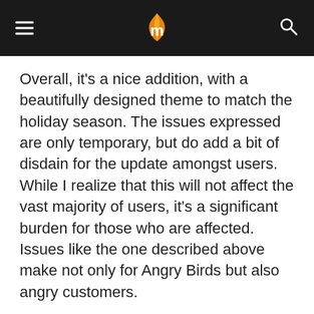[logo] m [hamburger menu] [search icon]
Overall, it's a nice addition, with a beautifully designed theme to match the holiday season. The issues expressed are only temporary, but do add a bit of disdain for the update amongst users. While I realize that this will not affect the vast majority of users, it's a significant burden for those who are affected. Issues like the one described above make not only for Angry Birds but also angry customers.
TAGS  Angry Birds  Review  seasons